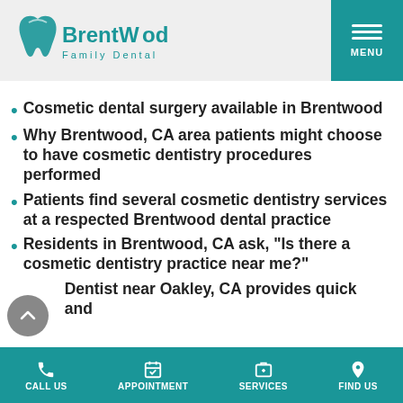[Figure (logo): Brentwood Family Dental logo with teal tooth icon]
Cosmetic dental surgery available in Brentwood
Why Brentwood, CA area patients might choose to have cosmetic dentistry procedures performed
Patients find several cosmetic dentistry services at a respected Brentwood dental practice
Residents in Brentwood, CA ask, "Is there a cosmetic dentistry practice near me?"
Dentist near Oakley, CA provides quick and effective cosmetic dentistry services
CALL US  APPOINTMENT  SERVICES  FIND US